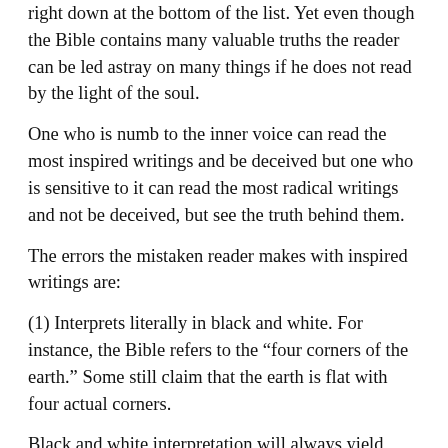right down at the bottom of the list. Yet even though the Bible contains many valuable truths the reader can be led astray on many things if he does not read by the light of the soul.
One who is numb to the inner voice can read the most inspired writings and be deceived but one who is sensitive to it can read the most radical writings and not be deceived, but see the truth behind them.
The errors the mistaken reader makes with inspired writings are:
(1) Interprets literally in black and white. For instance, the Bible refers to the “four corners of the earth.” Some still claim that the earth is flat with four actual corners.
Black and white interpretation will always yield many mistakes by the reader.
(2) They interpret in the light of what authorities in their life have told them.